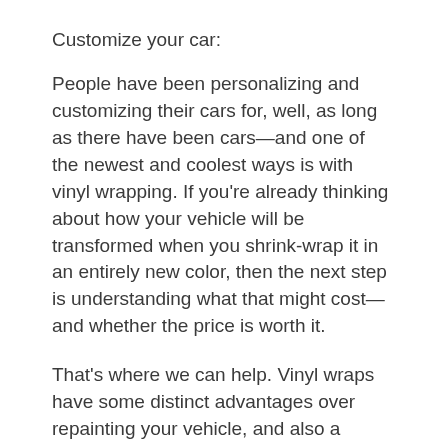Customize your car:
People have been personalizing and customizing their cars for, well, as long as there have been cars—and one of the newest and coolest ways is with vinyl wrapping. If you're already thinking about how your vehicle will be transformed when you shrink-wrap it in an entirely new color, then the next step is understanding what that might cost—and whether the price is worth it.
That's where we can help. Vinyl wraps have some distinct advantages over repainting your vehicle, and also a couple of disadvantages worth considering. Here's what you need to know about wrapping your car—including how